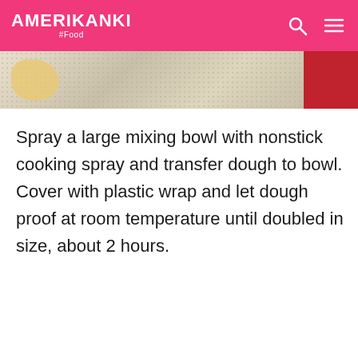AMERIKANKI #Food
[Figure (photo): Partial photo of dough being kneaded or mixed, with a red box element on the right side. Beige/tan speckled background texture visible.]
Spray a large mixing bowl with nonstick cooking spray and transfer dough to bowl. Cover with plastic wrap and let dough proof at room temperature until doubled in size, about 2 hours.